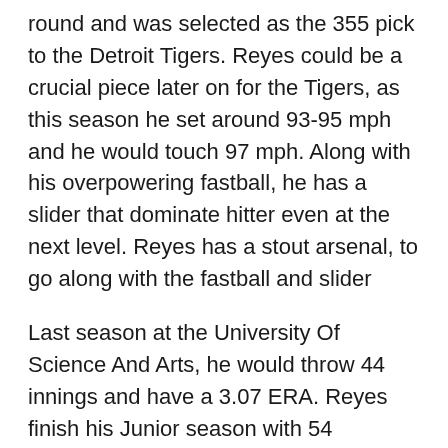round and was selected as the 355 pick to the Detroit Tigers. Reyes could be a crucial piece later on for the Tigers, as this season he set around 93-95 mph and he would touch 97 mph. Along with his overpowering fastball, he has a slider that dominate hitter even at the next level. Reyes has a stout arsenal, to go along with the fastball and slider
Last season at the University Of Science And Arts, he would throw 44 innings and have a 3.07 ERA. Reyes finish his Junior season with 54 strikeouts and would allow just 11 walks. Reyes would be tied for second in saves with 11 on the season. Reyes would hold opponents to a .253 batting average, as he would allow just 11 extra base hits.